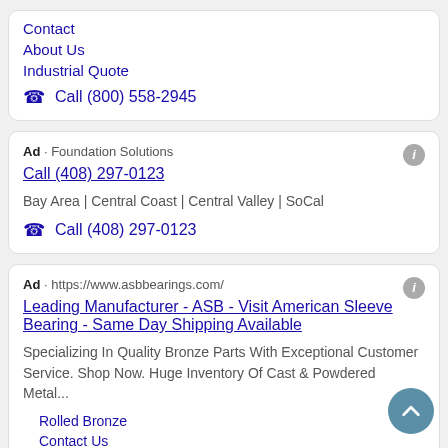Contact
About Us
Industrial Quote
Call (800) 558-2945
Ad · Foundation Solutions
Call (408) 297-0123
Bay Area | Central Coast | Central Valley | SoCal
Call (408) 297-0123
Ad · https://www.asbbearings.com/
Leading Manufacturer - ASB - Visit American Sleeve Bearing - Same Day Shipping Available
Specializing In Quality Bronze Parts With Exceptional Customer Service. Shop Now. Huge Inventory Of Cast & Powdered Metal...
Rolled Bronze
Contact Us